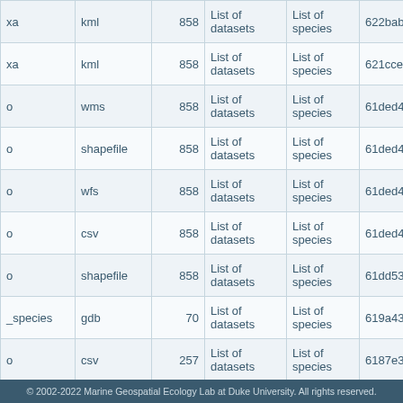| (col1) | format | count | type1 | type2 | id |
| --- | --- | --- | --- | --- | --- |
| xa | kml | 858 | List of datasets | List of species | 622bab7f29... |
| xa | kml | 858 | List of datasets | List of species | 621cce6e20... |
| o | wms | 858 | List of datasets | List of species | 61ded4734... |
| o | shapefile | 858 | List of datasets | List of species | 61ded4734... |
| o | wfs | 858 | List of datasets | List of species | 61ded4734... |
| o | csv | 858 | List of datasets | List of species | 61ded4734... |
| o | shapefile | 858 | List of datasets | List of species | 61dd53551... |
| _species | gdb | 70 | List of datasets | List of species | 619a430ca... |
| o | csv | 257 | List of datasets | List of species | 6187e387a... |
| species | gdb | 62 | List of datasets | List of species | 61702f05d0... |
© 2002-2022 Marine Geospatial Ecology Lab at Duke University. All rights reserved.